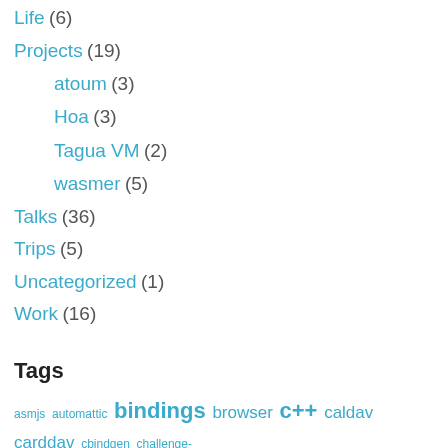Life (6)
Projects (19)
atoum (3)
Hoa (3)
Tagua VM (2)
wasmer (5)
Talks (36)
Trips (5)
Uncategorized (1)
Work (16)
Tags
asmjs automattic bindings browser c++ caldav carddav cbindgen challenge-